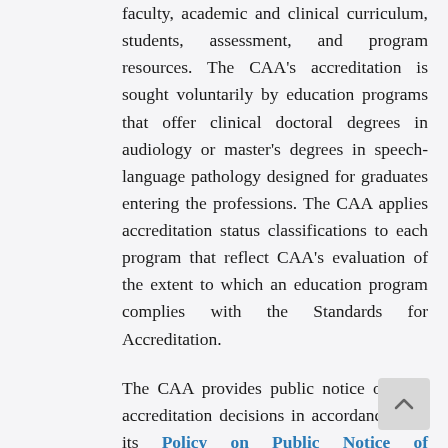faculty, academic and clinical curriculum, students, assessment, and program resources. The CAA's accreditation is sought voluntarily by education programs that offer clinical doctoral degrees in audiology or master's degrees in speech-language pathology designed for graduates entering the professions. The CAA applies accreditation status classifications to each program that reflect CAA's evaluation of the extent to which an education program complies with the Standards for Accreditation.

The CAA provides public notice of final accreditation decisions in accordance with its Policy on Public Notice of Accreditation Actions